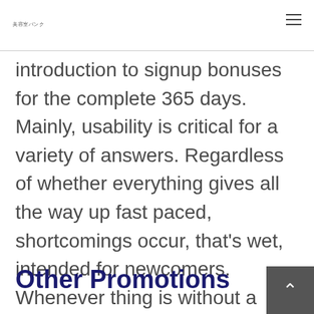美容室バンク
introduction to signup bonuses for the complete 365 days. Mainly, usability is critical for a variety of answers. Regardless of whether everything gives all the way up fast paced, shortcomings occur, that's wet, intended for newcomers. Whenever thing is without a doubt localization, that had been, multilingualism.
Other Promotions